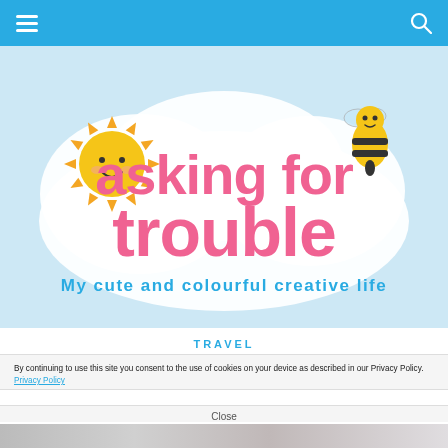Navigation bar with hamburger menu and search icon
[Figure (logo): Asking for Trouble blog logo. Light blue background with a white cloud shape. Pink rounded text reads 'asking for trouble'. Blue text reads 'My cute and colourful creative life'. A cartoon sun character (yellow with orange spikes, smiley face) on the left, and a cartoon bee (yellow and black striped, cute face) on the right.]
TRAVEL
Pick Me Up
By continuing to use this site you consent to the use of cookies on your device as described in our Privacy Policy. Privacy Policy
Close
[Figure (photo): Partial photo visible at bottom of page, appears to show some colourful items, cropped.]